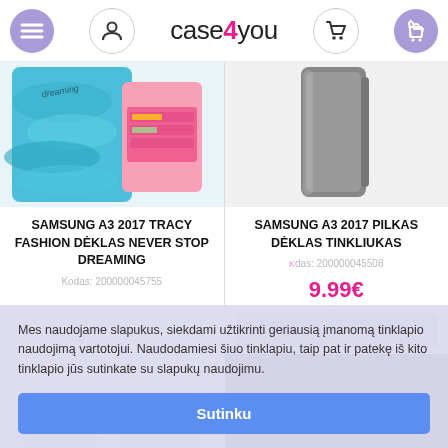case4you - navigation header with menu, user, phone, cart icons
[Figure (screenshot): Left product image: colorful phone case with ocean/blue design and pink wallet case]
SAMSUNG A3 2017 TRACY FASHION DĖKLAS NEVER STOP DREAMING
Kodas: 200000045755
[Figure (screenshot): Right product image: gray slim phone case for Samsung A3 2017]
SAMSUNG A3 2017 PILKAS DĖKLAS TINKLIUKAS
Kodas: 200000045508
9.99€
Į KREPŠELĮ
Mes naudojame slapukus, siekdami užtikrinti geriausią įmanomą tinklapio naudojimą vartotojui. Naudodamiesi šiuo tinklapiu, taip pat ir patekę iš kito tinklapio jūs sutinkate su slapukų naudojimu.
Sutinku